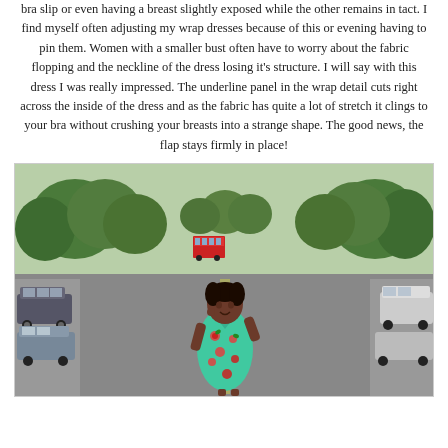bra slip or even having a breast slightly exposed while the other remains in tact. I find myself often adjusting my wrap dresses because of this or evening having to pin them. Women with a smaller bust often have to worry about the fabric flopping and the neckline of the dress losing it's structure. I will say with this dress I was really impressed. The underline panel in the wrap detail cuts right across the inside of the dress and as the fabric has quite a lot of stretch it clings to your bra without crushing your breasts into a strange shape. The good news, the flap stays firmly in place!
[Figure (photo): A woman wearing a teal/turquoise floral wrap dress with red flowers standing in the middle of a residential street. Cars are parked on both sides. Trees line the street and a red double-decker bus is visible in the background.]